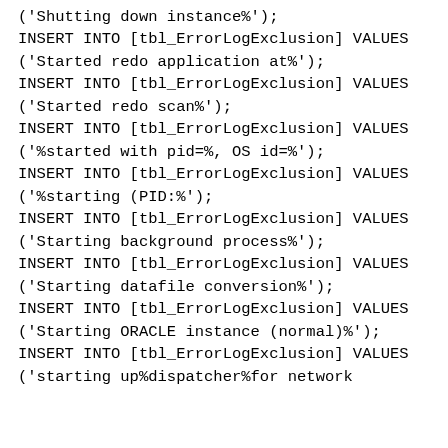('Shutting down instance%');
INSERT INTO [tbl_ErrorLogExclusion] VALUES
('Started redo application at%');
INSERT INTO [tbl_ErrorLogExclusion] VALUES
('Started redo scan%');
INSERT INTO [tbl_ErrorLogExclusion] VALUES
('%started with pid=%, OS id=%');
INSERT INTO [tbl_ErrorLogExclusion] VALUES
('%starting (PID:%');
INSERT INTO [tbl_ErrorLogExclusion] VALUES
('Starting background process%');
INSERT INTO [tbl_ErrorLogExclusion] VALUES
('Starting datafile conversion%');
INSERT INTO [tbl_ErrorLogExclusion] VALUES
('Starting ORACLE instance (normal)%');
INSERT INTO [tbl_ErrorLogExclusion] VALUES
('starting up%dispatcher%for network